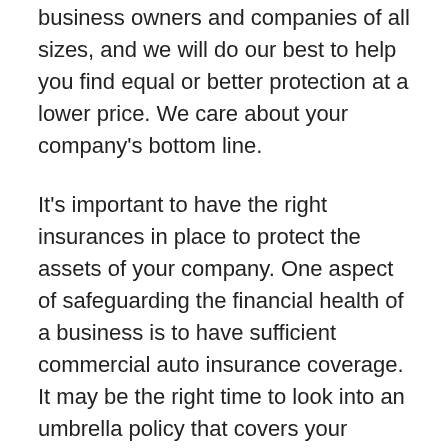business owners and companies of all sizes, and we will do our best to help you find equal or better protection at a lower price. We care about your company's bottom line.
It's important to have the right insurances in place to protect the assets of your company. One aspect of safeguarding the financial health of a business is to have sufficient commercial auto insurance coverage. It may be the right time to look into an umbrella policy that covers your business in case a lawsuit against you is successful and the award is higher than your current liability coverage will pay. We can explore the various options for you so that you can make an informed decision on which policy suits your commercial auto insurance needs.